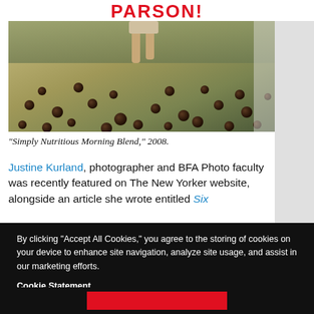PARSON!
[Figure (photo): A photograph showing a person's legs walking on dry ground scattered with many dark round balls (pinecones or similar), with sparse green grass in background. Titled 'Simply Nutritious Morning Blend,' 2008.]
“Simply Nutritious Morning Blend,” 2008.
Justine Kurland, photographer and BFA Photo faculty was recently featured on The New Yorker website, alongside an article she wrote entitled Six
By clicking “Accept All Cookies,” you agree to the storing of cookies on your device to enhance site navigation, analyze site usage, and assist in our marketing efforts.
Cookie Statement